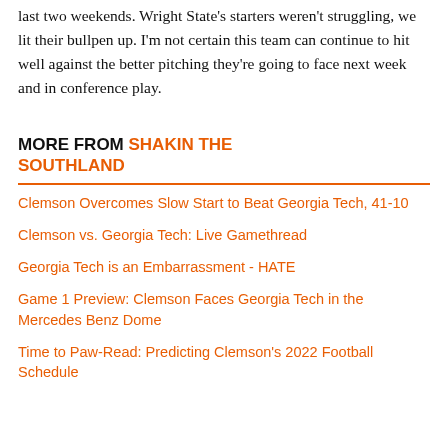last two weekends. Wright State's starters weren't struggling, we lit their bullpen up. I'm not certain this team can continue to hit well against the better pitching they're going to face next week and in conference play.
MORE FROM SHAKIN THE SOUTHLAND
Clemson Overcomes Slow Start to Beat Georgia Tech, 41-10
Clemson vs. Georgia Tech: Live Gamethread
Georgia Tech is an Embarrassment - HATE
Game 1 Preview: Clemson Faces Georgia Tech in the Mercedes Benz Dome
Time to Paw-Read: Predicting Clemson's 2022 Football Schedule